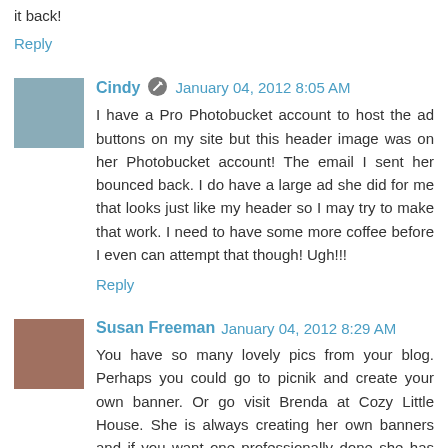it back!
Reply
Cindy  January 04, 2012 8:05 AM
I have a Pro Photobucket account to host the ad buttons on my site but this header image was on her Photobucket account! The email I sent her bounced back. I do have a large ad she did for me that looks just like my header so I may try to make that work. I need to have some more coffee before I even can attempt that though! Ugh!!!
Reply
Susan Freeman  January 04, 2012 8:29 AM
You have so many lovely pics from your blog. Perhaps you could go to picnik and create your own banner. Or go visit Brenda at Cozy Little House. She is always creating her own banners and if you want one professionally done she has the names of women who can do that for you. Good Luck!